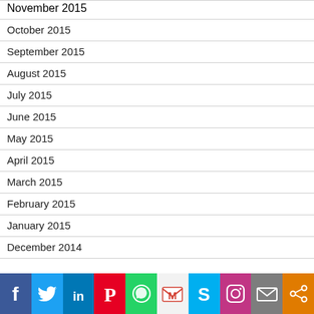November 2015
October 2015
September 2015
August 2015
July 2015
June 2015
May 2015
April 2015
March 2015
February 2015
January 2015
December 2014
[Figure (infographic): Social sharing bar with icons: Facebook, Twitter, LinkedIn, Pinterest, WhatsApp, Gmail, Skype, Instagram, Email, Share]